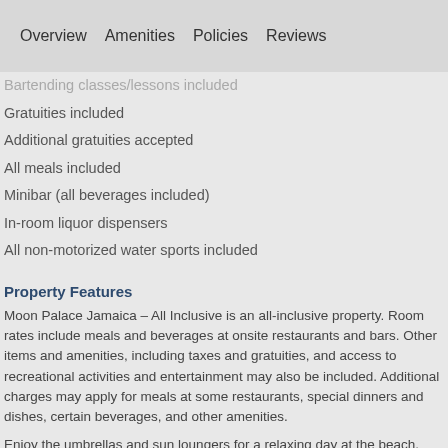Overview   Amenities   Policies   Reviews
Bartending classes/lessons included
Gratuities included
Additional gratuities accepted
All meals included
Minibar (all beverages included)
In-room liquor dispensers
All non-motorized water sports included
Property Features
Moon Palace Jamaica – All Inclusive is an all-inclusive property. Room rates include meals and beverages at onsite restaurants and bars. Other items and amenities, including taxes and gratuities, and access to recreational activities and entertainment may also be included. Additional charges may apply for meals at some restaurants, special dinners and dishes, certain beverages, and other amenities.
Enjoy the umbrellas and sun loungers for a relaxing day at the beach. Bring your whole family to Moon Palace Jamaica – All Inclusive for summer fun including 4 outdoor swimming pools, a complimentary children's club, and a children's pool.